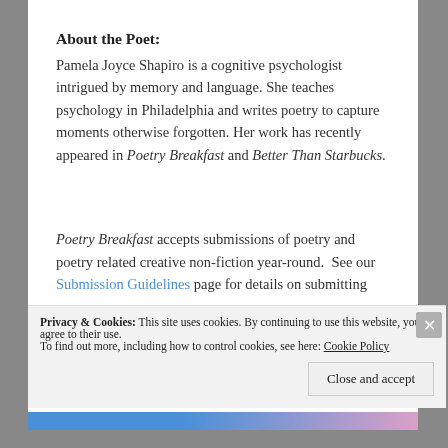About the Poet:
Pamela Joyce Shapiro is a cognitive psychologist intrigued by memory and language. She teaches psychology in Philadelphia and writes poetry to capture moments otherwise forgotten. Her work has recently appeared in Poetry Breakfast and Better Than Starbucks.
Poetry Breakfast accepts submissions of poetry and poetry related creative non-fiction year-round. See our Submission Guidelines page for details on submitting
Privacy & Cookies: This site uses cookies. By continuing to use this website, you agree to their use.
To find out more, including how to control cookies, see here: Cookie Policy
Close and accept